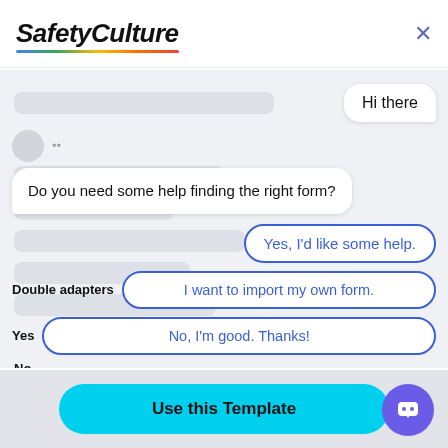[Figure (screenshot): SafetyCulture app header with logo and close button]
Hi there
Do you need some help finding the right form?
Yes, I'd like some help.
Double adapters
I want to import my own form.
Yes
No, I'm good. Thanks!
No
Use this Template